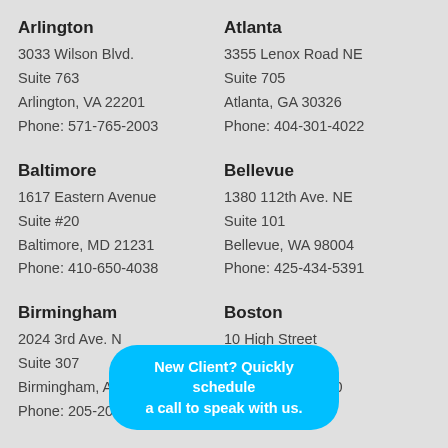Arlington
3033 Wilson Blvd.
Suite 763
Arlington, VA 22201
Phone: 571-765-2003
Atlanta
3355 Lenox Road NE
Suite 705
Atlanta, GA 30326
Phone: 404-301-4022
Baltimore
1617 Eastern Avenue
Suite #20
Baltimore, MD 21231
Phone: 410-650-4038
Bellevue
1380 112th Ave. NE
Suite 101
Bellevue, WA 98004
Phone: 425-434-5391
Birmingham
2024 3rd Ave. N
Suite 307
Birmingham, AL 35203
Phone: 205-203-9924
Boston
10 High Street
Suite 401
Boston, MA 02110
New Client? Quickly schedule a call to speak with us.